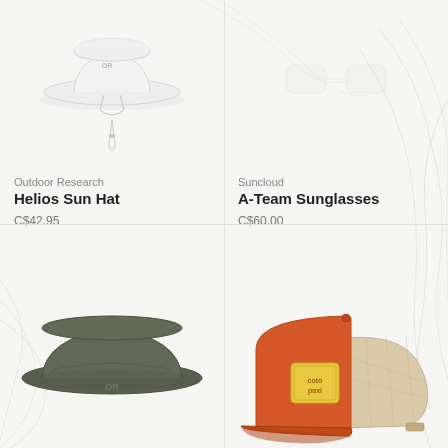[Figure (photo): Outdoor Research Helios Sun Hat - white wide-brim sun hat with chin cord, shown on white background]
Outdoor Research
Helios Sun Hat
C$42.95
[Figure (photo): Suncloud A-Team Sunglasses - not fully visible in top right area]
Suncloud
A-Team Sunglasses
C$60.00
[Figure (photo): Olive/dark green bucket hat with OR logo on front brim - Outdoor Research hat]
[Figure (photo): Orange and tan/beige mesh trucker cap with Cotopaxi logo patch on front]